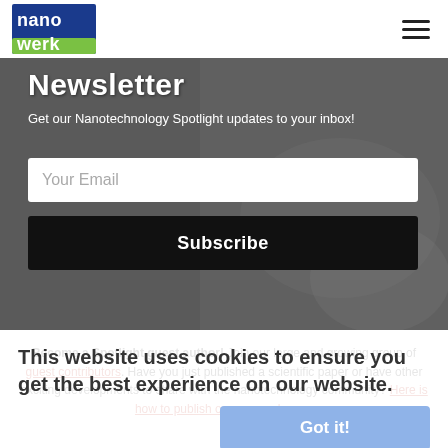nanowerk
Newsletter
Get our Nanotechnology Spotlight updates to your inbox!
Your Email
Subscribe
Become a Spotlight guest author! Join our large and growing group of guest contributors. Have you just published a scientific paper or have other exciting developments to share with the nanotechnology community? Here is how to publish on nanowerk.com.
This website uses cookies to ensure you get the best experience on our website.
Got it!